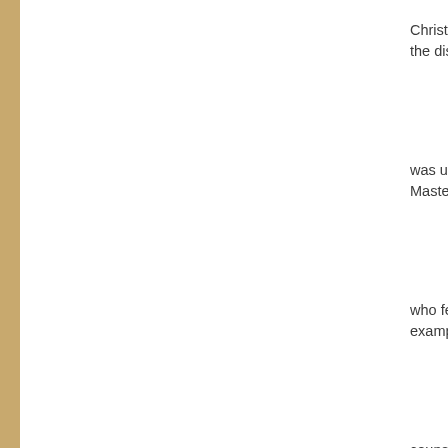Christ, but lov the disciple w was unfaithful Master of All, who fell miser example and counsel: spurn you know the prepared for t 58. If you are support or by demanding it, you, and of th
58. If you are support or by demanding it, you, and of th